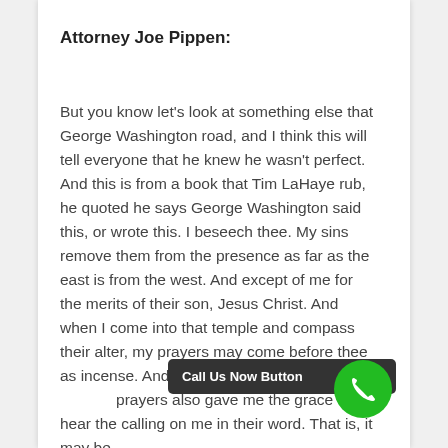Attorney Joe Pippen:
But you know let's look at something else that George Washington road, and I think this will tell everyone that he knew he wasn't perfect. And this is from a book that Tim LaHaye rub, he quoted he says George Washington said this, or wrote this. I beseech thee. My sins remove them from the presence as far as the east is from the west. And except of me for the merits of their son, Jesus Christ. And when I come into that temple and compass their alter, my prayers may come before thee as incense. And as now was hear me calling and the prayers also gave me the grace to hear the calling on me in their word. That is, it may be